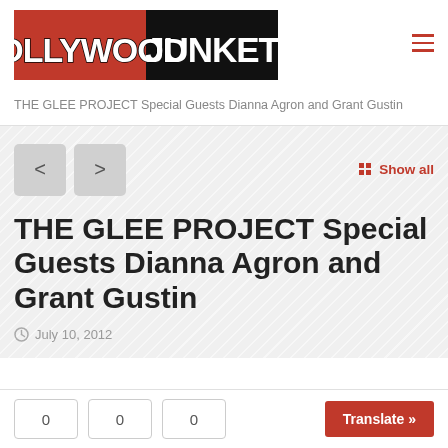[Figure (logo): Hollywood Junket logo — white text on red and black background]
THE GLEE PROJECT Special Guests Dianna Agron and Grant Gustin
THE GLEE PROJECT Special Guests Dianna Agron and Grant Gustin
July 10, 2012
0  0  0  Translate »